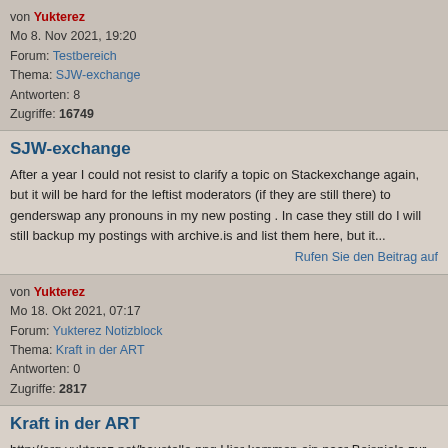von Yukterez
Mo 8. Nov 2021, 19:20
Forum: Testbereich
Thema: SJW-exchange
Antworten: 8
Zugriffe: 16749
SJW-exchange
After a year I could not resist to clarify a topic on Stackexchange again, but it will be hard for the leftist moderators (if they are still there) to genderswap any pronouns in my new posting . In case they still do I will still backup my postings with archive.is and list them here, but it...
Rufen Sie den Beitrag auf
von Yukterez
Mo 18. Okt 2021, 07:17
Forum: Yukterez Notizblock
Thema: Kraft in der ART
Antworten: 0
Zugriffe: 2817
Kraft in der ART
http://org.yukterez.net/baustelle.png Hier kommen ein paar Beispiele zur Kraft in der ART, dieser Beitrag dient als Platzhalter damit ich nicht darauf vergesse. 1) Kraft einer stationären Teilchens in der Schwarzschild Metrik 2) Kraft eines bewegten Teilchens in der Schwarzschild Metrik 3) Kraft ei...
Rufen Sie den Beitrag auf
von Yukterez
Di 7. Sep 2021, 23:48